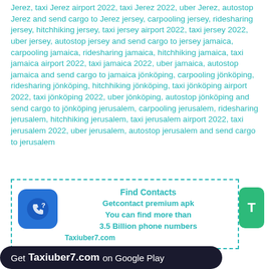Jerez, taxi Jerez airport 2022, taxi Jerez 2022, uber Jerez, autostop Jerez and send cargo to Jerez jersey, carpooling jersey, ridesharing jersey, hitchhiking jersey, taxi jersey airport 2022, taxi jersey 2022, uber jersey, autostop jersey and send cargo to jersey jamaica, carpooling jamaica, ridesharing jamaica, hitchhiking jamaica, taxi jamaica airport 2022, taxi jamaica 2022, uber jamaica, autostop jamaica and send cargo to jamaica jönköping, carpooling jönköping, ridesharing jönköping, hitchhiking jönköping, taxi jönköping airport 2022, taxi jönköping 2022, uber jönköping, autostop jönköping and send cargo to jönköping jerusalem, carpooling jerusalem, ridesharing jerusalem, hitchhiking jerusalem, taxi jerusalem airport 2022, taxi jerusalem 2022, uber jerusalem, autostop jerusalem and send cargo to jerusalem
[Figure (infographic): Ad box with dashed teal border containing a phone/question mark icon on blue background, and teal bold text: Find Contacts / Getcontact premium apk / You can find more than / 3.5 Billion phone numbers, with Taxiuber7.com below]
Get Taxiuber7.com on Google Play